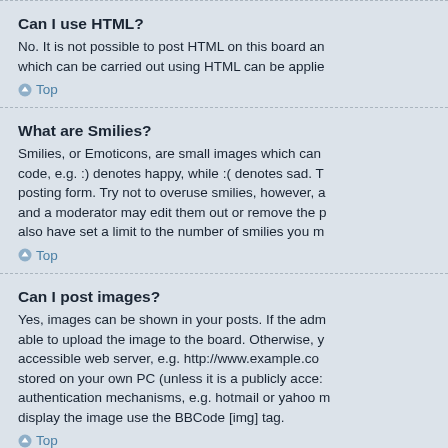Can I use HTML?
No. It is not possible to post HTML on this board and have it rendered as HTML. Most formatting which can be carried out using HTML can be applied using BBCode instead.
Top
What are Smilies?
Smilies, or Emoticons, are small images which can be used to express a feeling using a short code, e.g. :) denotes happy, while :( denotes sad. The full list of emoticons can be seen in the posting form. Try not to overuse smilies, however, as they can quickly render a post unreadable and a moderator may edit them out or remove the post altogether. The board administrator may also have set a limit to the number of smilies you may use within a post.
Top
Can I post images?
Yes, images can be shown in your posts. If the administrator has allowed attachments, you may be able to upload the image to the board. Otherwise, you must link to an image stored on a publicly accessible web server, e.g. http://www.example.com/my-picture.gif. You cannot link to pictures stored on your own PC (unless it is a publicly accessible server) nor images stored behind authentication mechanisms, e.g. hotmail or yahoo mailboxes, password protected sites, etc. To display the image use the BBCode [img] tag.
Top